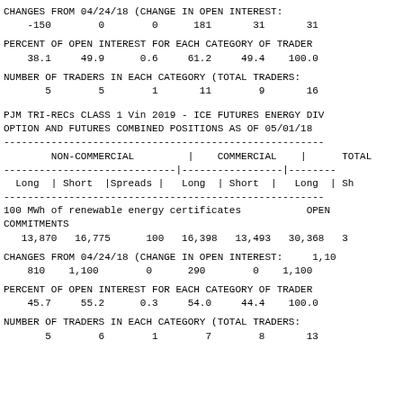CHANGES FROM 04/24/18 (CHANGE IN OPEN INTEREST:
-150        0        0      181       31       31
PERCENT OF OPEN INTEREST FOR EACH CATEGORY OF TRADER
    38.1     49.9      0.6     61.2     49.4    100.0
NUMBER OF TRADERS IN EACH CATEGORY (TOTAL TRADERS:
       5        5        1       11        9       16
PJM TRI-RECs CLASS 1 Vin 2019 - ICE FUTURES ENERGY DIV
OPTION AND FUTURES COMBINED POSITIONS AS OF 05/01/18
| NON-COMMERCIAL | COMMERCIAL | TOTAL |
| --- | --- | --- |
| Long | Short |Spreads | | Long | Short | | Long | Sh |
| 100 MWh of renewable energy certificates |  | OPEN |
| COMMITMENTS |  |  |
| 13,870   16,775      100   16,398   13,493   30,368   3 |  |  |
CHANGES FROM 04/24/18 (CHANGE IN OPEN INTEREST:     1,10
810    1,100        0      290        0    1,100
PERCENT OF OPEN INTEREST FOR EACH CATEGORY OF TRADER
    45.7     55.2      0.3     54.0     44.4    100.0
NUMBER OF TRADERS IN EACH CATEGORY (TOTAL TRADERS:
       5        6        1        7        8       13